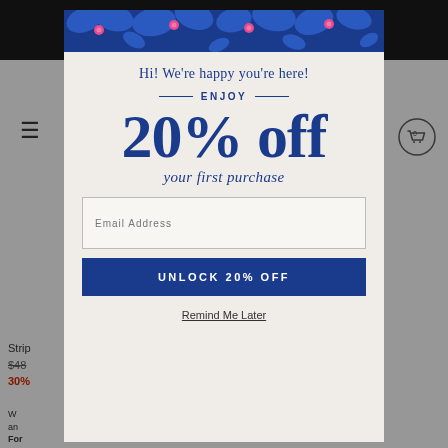[Figure (screenshot): E-commerce website screenshot showing a modal popup overlay on a shopping page. The modal has a blue floral banner at top, greeting text, 20% off promotional offer, email input field, unlock button, and remind me later link.]
Hi! We're happy you're here!
— ENJOY —
20% off
your first purchase
Email Address
UNLOCK 20% OFF
Remind Me Later